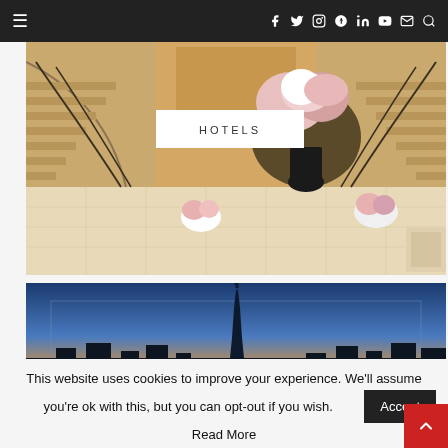Navigation bar with hamburger menu and social icons: f (Facebook), Twitter, Instagram, Pinterest, LinkedIn, YouTube, email, search
[Figure (photo): Luxury hotel lobby interior with grand dual staircases, ornate iron railings, marble floors, and a large floral arrangement in a black vase. A white banner overlay reads HOTELS.]
[Figure (photo): City skyline at dusk with a tall tower (resembling Burj Khalifa) silhouetted against a gradient blue and orange sky.]
This website uses cookies to improve your experience. We'll assume you're ok with this, but you can opt-out if you wish. Accept
Read More